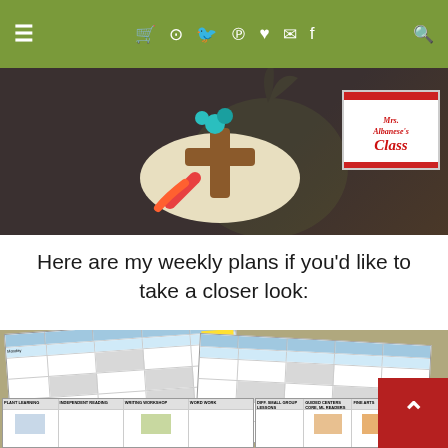≡  🛒  📷  🐦  𝗣  ♥  ✉  f  🔍
[Figure (photo): Header banner photo showing a decorative clay or dough piece with a cross and flower, on a dark background. A logo card in the top-right reads 'Mrs. Albanese's Class' in red cursive script on white background with decorative border.]
Here are my weekly plans if you'd like to take a closer look:
[Figure (photo): Image showing two overlapping weekly lesson plan grid sheets on a tan/khaki background, with blue and gray color-coded cells containing text and small images. Below are two more plan sheets with smaller text. A red scroll-to-top button (chevron up) appears in the bottom-right corner.]